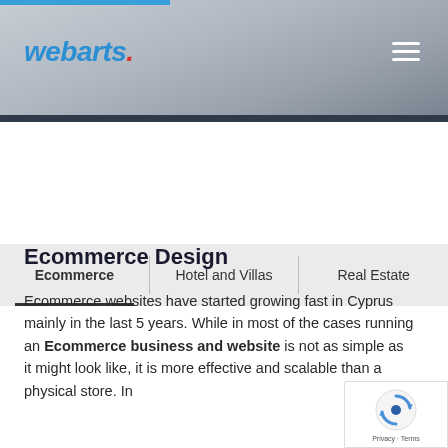webarts.
Ecommerce | Hotel and Villas | Real Estate
Ecommerce Design
Ecommerce websites have started growing fast in Cyprus mainly in the last 5 years. While in most of the cases running an Ecommerce business and website is not as simple as it might look like, it is more effective and scalable than a physical store. In